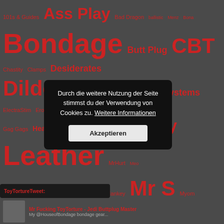[Figure (infographic): Tag cloud with red terms on dark grey background including: 101s & Guides, Ass Play, Bad Dragon, ballistic, Menz, Bona, Bondage, Butt Plug, CBT, Chastity, Clamps, Desiderates, Dildo, Doxy, E-Stim, E-Stim Systems, ElectraStim, Erostek, Fetters, Gag Gags, Head Gear, HML, Impact Play, Leather, MrHurt, Meo, Metal, Milking, Mister B, Mr Hankey, Mr S, Myom, Orgasmatoy, Oxballs, Paris, Playing Safe, Playroom, Playroom Plug, Regulation, Restraints, Rubber, Sensation Play, SessotoyS, SquarePeg, Suspension, Topped Toys, TT, Uberkinky, Vac]
ToyTortureTweet:
Durch die weitere Nutzung der Seite stimmst du der Verwendung von Cookies zu. Weitere Informationen
Akzeptieren
Mr Fucking ToyTorture - Jedi Buttplug Master
My @HouseofBondage bondage gear...